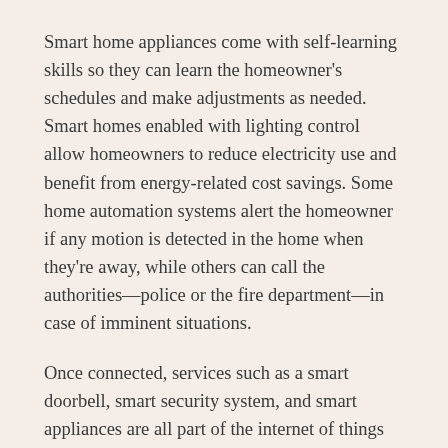Smart home appliances come with self-learning skills so they can learn the homeowner's schedules and make adjustments as needed. Smart homes enabled with lighting control allow homeowners to reduce electricity use and benefit from energy-related cost savings. Some home automation systems alert the homeowner if any motion is detected in the home when they're away, while others can call the authorities—police or the fire department—in case of imminent situations.
Once connected, services such as a smart doorbell, smart security system, and smart appliances are all part of the internet of things (IoT) technology, a network of physical objects that can gather and share electronic information.
Smart homes can feature either wireless or hardwired systems—or both. Wireless systems are easier to install. Putting in a wireless home automation system with features such as smart lighting, climate control, and